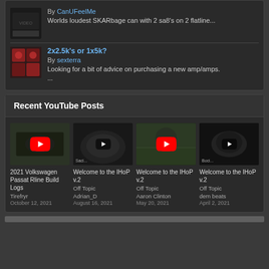By CanUFeelMe
Worlds loudest SKARbage can with 2 sa8's on 2 flatline...
2x2.5k's or 1x5k?
By sexterra
Looking for a bit of advice on purchasing a new amp/amps. ...
Recent YouTube Posts
[Figure (screenshot): YouTube video thumbnail for '2021 Volkswagen Passat Rline Build Logs' with red play button]
2021 Volkswagen Passat Rline Build Logs
Tirefryr
October 12, 2021
[Figure (screenshot): YouTube video thumbnail for 'Welcome to the IHoP v.2 Off Topic' by Adrian_D with play button]
Welcome to the IHoP v.2
Off Topic
Adrian_D
August 16, 2021
[Figure (screenshot): YouTube video thumbnail for 'Welcome to the IHoP v.2 Off Topic' by Aaron Clinton with red play button]
Welcome to the IHoP v.2
Off Topic
Aaron Clinton
May 20, 2021
[Figure (screenshot): YouTube video thumbnail for 'Welcome to the IHoP v.2 Off Topic' by dem beats with play button]
Welcome to the IHoP v.2
Off Topic
dem beats
April 2, 2021